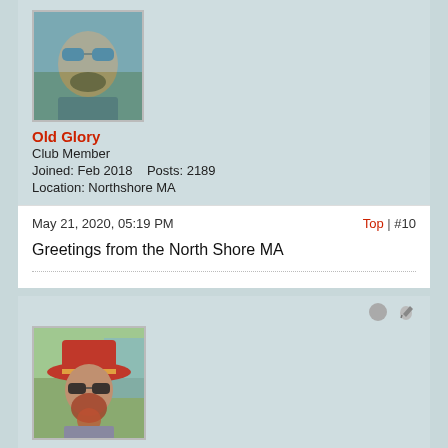[Figure (photo): Profile photo of Old Glory: man with sunglasses and beard]
Old Glory
Club Member
Joined: Feb 2018   Posts: 2189
Location: Northshore MA
May 21, 2020, 05:19 PM
Top | #10
Greetings from the North Shore MA
[Figure (photo): Profile photo of Mr. Bones: man with cowboy hat and sunglasses]
Mr. Bones
In Memoriam
Joined: Sep 2016   Posts: 11728